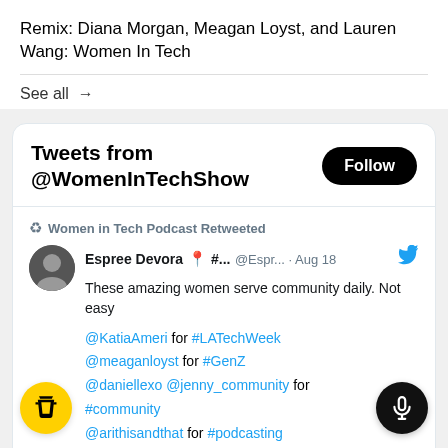Remix: Diana Morgan, Meagan Loyst, and Lauren Wang: Women In Tech
See all →
Tweets from @WomenInTechShow
Women in Tech Podcast Retweeted
Espree Devora 📍 #... @Espr... · Aug 18
These amazing women serve community daily. Not easy

@KatiaAmeri for #LATechWeek
@meaganloyst for #GenZ
@daniellexo @jenny_community for #community
@arithisandthat for #podcasting
@mikster for #founders